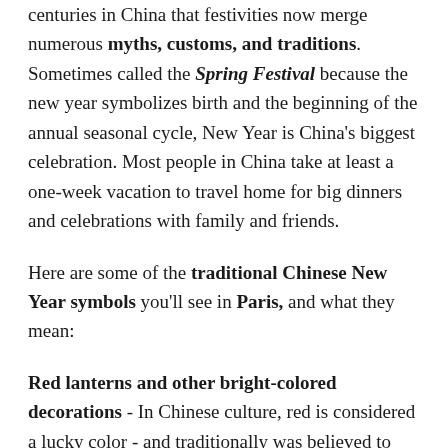centuries in China that festivities now merge numerous myths, customs, and traditions.  Sometimes called the Spring Festival because the new year symbolizes birth and the beginning of the annual seasonal cycle, New Year is China's biggest celebration.  Most people in China take at least a one-week vacation to travel home for big dinners and celebrations with family and friends.
Here are some of the traditional Chinese New Year symbols you'll see in Paris, and what they mean:
Red lanterns and other bright-colored decorations - In Chinese culture, red is considered a lucky color - and traditionally was believed to play a role, along with firecrackers, in scaring away evil monsters.  Today, red